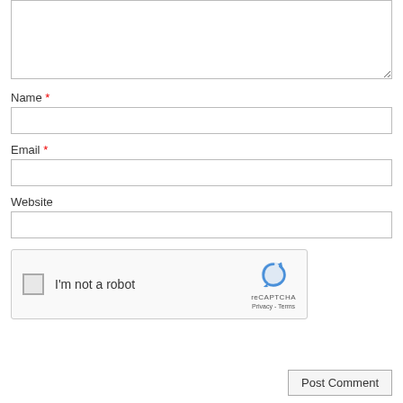[Figure (screenshot): Textarea input box for comment text, partially visible at top of page]
Name *
[Figure (screenshot): Text input field for Name]
Email *
[Figure (screenshot): Text input field for Email]
Website
[Figure (screenshot): Text input field for Website]
[Figure (screenshot): reCAPTCHA widget with checkbox labeled 'I'm not a robot' and reCAPTCHA logo with Privacy - Terms links]
[Figure (screenshot): Post Comment button]